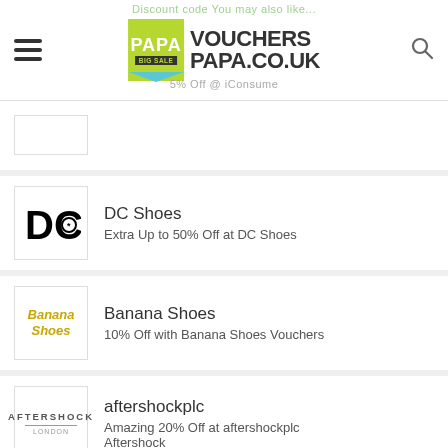[Figure (logo): VouchersPapa.co.uk website header logo with hamburger menu and search icon]
DC Shoes
Extra Up to 50% Off at DC Shoes
Banana Shoes
10% Off with Banana Shoes Vouchers
aftershockplc
Amazing 20% Off at aftershockplc Aftershock
In The Style
Enjoy 70% Off @ In The Style
Baukjen